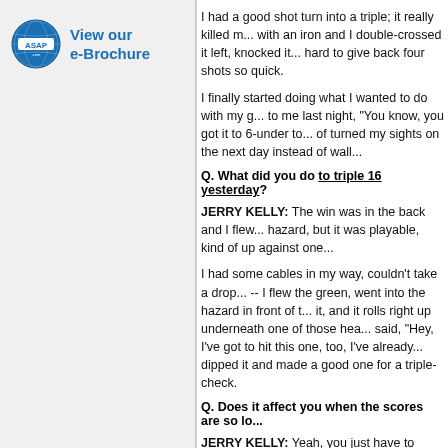[Figure (logo): ASAP.com globe logo with 'View our e-Brochure' text in blue]
I had a good shot turn into a triple; it really killed me. I came in with an iron and I double-crossed it left, knocked it in. It's pretty hard to give back four shots so quick.
I finally started doing what I wanted to do with my g... to me last night, "You know, you got it to 6-under to... of turned my sights on the next day instead of wall...
Q. What did you do to triple 16 yesterday?
JERRY KELLY: The win was in the back and I flew... hazard, but it was playable, kind of up against one...
I had some cables in my way, couldn't take a drop... -- I flew the green, went into the hazard in front of t... it, and it rolls right up underneath one of those hea... said, "Hey, I've got to hit this one, too, I've already... dipped it and made a good one for a triple-check.
Q. Does it affect you when the scores are so lo...
JERRY KELLY: Yeah, you just have to think birdie... after but you've just got to be aggressive. You can't... where you can, but there are some. This isn't one o...
Q. This is a perfect tournament for you, becaus...
JERRY KELLY: No question. Sometimes it helps m... shouldn't and get into some rough, things like that.... I'm just playing it where everybody else. I just got a... well for me off the tee.
Q. How often did you hit the driver today?
JERRY KELLY: I don't know, maybe five, six, some... probably go back.
Q. You used to live here for a long time, I know...